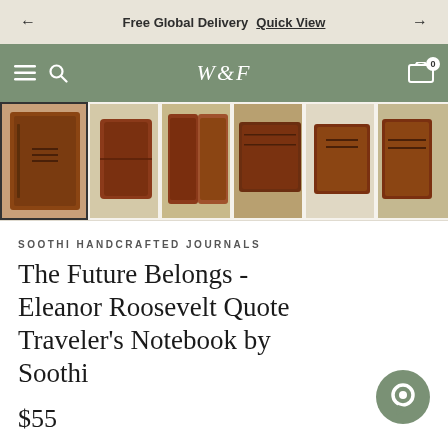Free Global Delivery  Quick View
[Figure (screenshot): Website navigation bar with W&F logo on sage green background, hamburger menu, search icon, and cart icon with badge 0]
[Figure (photo): Thumbnail strip showing 6 views of a brown leather traveler's notebook/journal, first one selected with border]
SOOTHI HANDCRAFTED JOURNALS
The Future Belongs - Eleanor Roosevelt Quote Traveler's Notebook by Soothi
$55